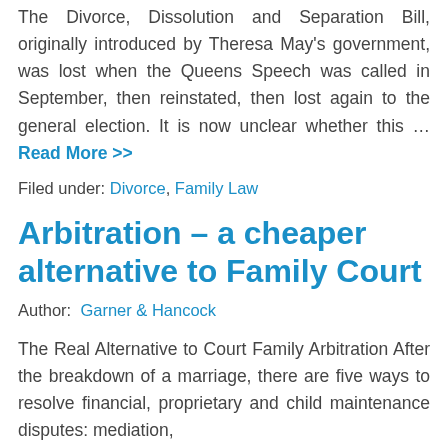The Divorce, Dissolution and Separation Bill, originally introduced by Theresa May's government, was lost when the Queens Speech was called in September, then reinstated, then lost again to the general election. It is now unclear whether this … Read More >>
Filed under: Divorce, Family Law
Arbitration – a cheaper alternative to Family Court
Author: Garner & Hancock
The Real Alternative to Court Family Arbitration After the breakdown of a marriage, there are five ways to resolve financial, proprietary and child maintenance disputes: mediation,